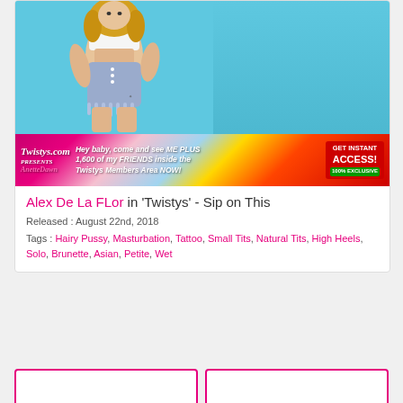[Figure (photo): Photo of Alex De La Flor posing against a light blue background, wearing a pink bikini top and denim shorts, showing midriff and tattoos]
[Figure (photo): Twistys.com advertisement banner featuring Anette Dawn with text: Hey baby, come and see ME PLUS 1,600 of my FRIENDS inside the Twistys Members Area NOW! GET INSTANT ACCESS! 100% EXCLUSIVE]
Alex De La FLor in 'Twistys' - Sip on This
Released : August 22nd, 2018
Tags : Hairy Pussy, Masturbation, Tattoo, Small Tits, Natural Tits, High Heels, Solo, Brunette, Asian, Petite, Wet